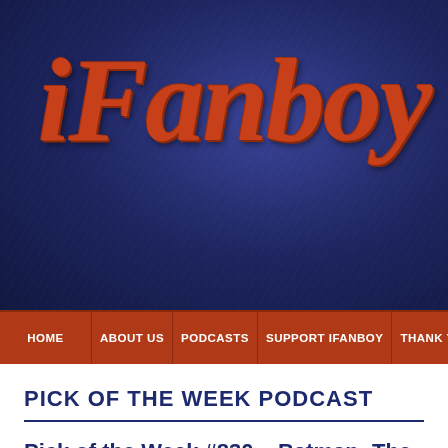[Figure (logo): iFanboy website logo — orange italic serif text 'iFanboy' on a dark navy blue textured background]
HOME | ABOUT US | PODCASTS | SUPPORT IFANBOY | THANK YOU
PICK OF THE WEEK PODCAST
Pick of the Week #830 – Batman: The Knight #5